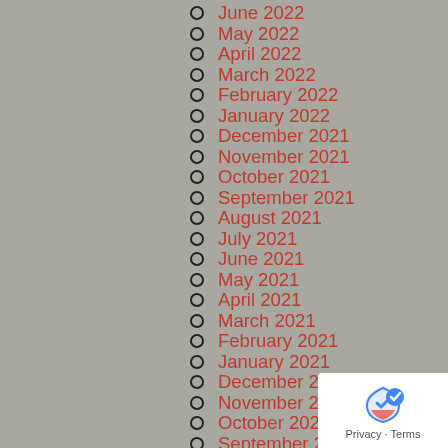June 2022
May 2022
April 2022
March 2022
February 2022
January 2022
December 2021
November 2021
October 2021
September 2021
August 2021
July 2021
June 2021
May 2021
April 2021
March 2021
February 2021
January 2021
December 2020
November 2020
October 2020
September 2020
August 2020